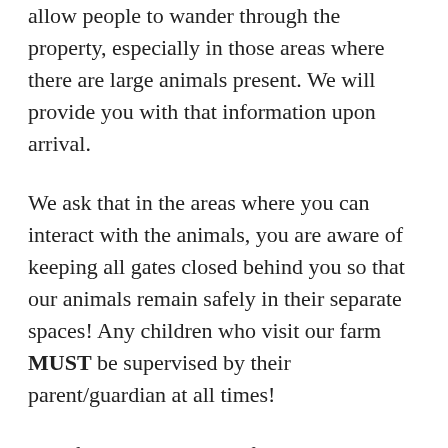allow people to wander through the property, especially in those areas where there are large animals present. We will provide you with that information upon arrival.
We ask that in the areas where you can interact with the animals, you are aware of keeping all gates closed behind you so that our animals remain safely in their separate spaces! Any children who visit our farm MUST be supervised by their parent/guardian at all times!
All of the animals at our farm must be treated kindly at all times: no rough playing, chasing, or picking up animals is allowed. We can advise you of the best ways to pet the goats and other animals so